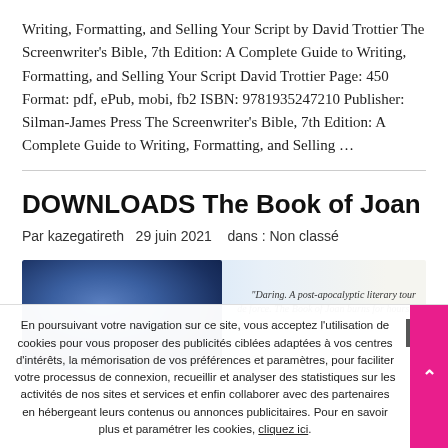Writing, Formatting, and Selling Your Script by David Trottier The Screenwriter's Bible, 7th Edition: A Complete Guide to Writing, Formatting, and Selling Your Script David Trottier Page: 450 Format: pdf, ePub, mobi, fb2 ISBN: 9781935247210 Publisher: Silman-James Press The Screenwriter's Bible, 7th Edition: A Complete Guide to Writing, Formatting, and Selling …
DOWNLOADS The Book of Joan
Par kazegatireth   29 juin 2021   dans : Non classé
[Figure (photo): Book cover or promotional image with blue tones on left and a text quote on right reading 'Daring. A post-apocalyptic literary tour de force. The Book of Joan burns for hours.']
En poursuivant votre navigation sur ce site, vous acceptez l'utilisation de cookies pour vous proposer des publicités ciblées adaptées à vos centres d'intérêts, la mémorisation de vos préférences et paramètres, pour faciliter votre processus de connexion, recueillir et analyser des statistiques sur les activités de nos sites et services et enfin collaborer avec des partenaires en hébergeant leurs contenus ou annonces publicitaires. Pour en savoir plus et paramétrer les cookies, cliquez ici.